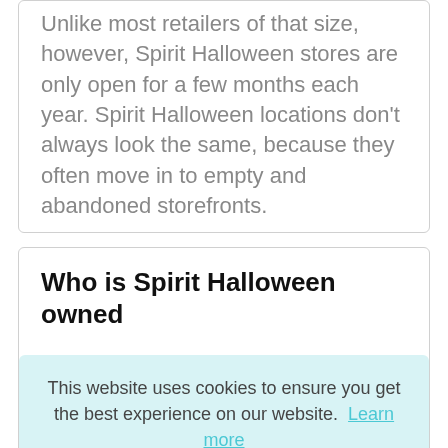Unlike most retailers of that size, however, Spirit Halloween stores are only open for a few months each year. Spirit Halloween locations don't always look the same, because they often move in to empty and abandoned storefronts.
Who is Spirit Halloween owned
This website uses cookies to ensure you get the best experience on our website.  Learn more
Got it!
first store in Canada. In 1999, Spencer's